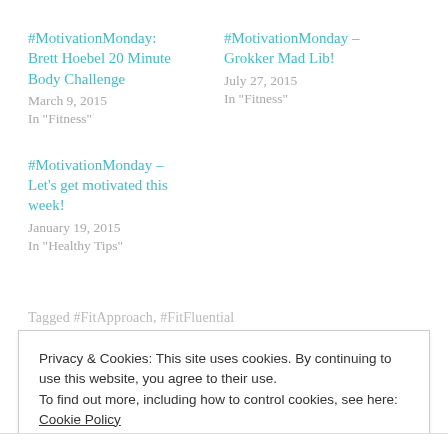#MotivationMonday: Brett Hoebel 20 Minute Body Challenge
March 9, 2015
In "Fitness"
#MotivationMonday – Grokker Mad Lib!
July 27, 2015
In "Fitness"
#MotivationMonday – Let's get motivated this week!
January 19, 2015
In "Healthy Tips"
Tagged #FitApproach, #FitFluential
Privacy & Cookies: This site uses cookies. By continuing to use this website, you agree to their use.
To find out more, including how to control cookies, see here: Cookie Policy
Close and accept